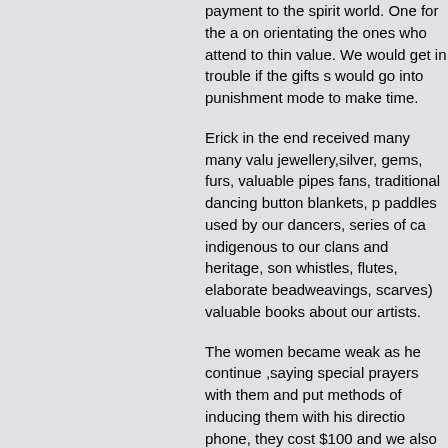payment to the spirit world. One for the a on orientating the ones who attend to thin value. We would get in trouble if the gifts s would go into punishment mode to make time.
Erick in the end received many many valu jewellery,silver, gems, furs, valuable pipes fans, traditional dancing button blankets, p paddles used by our dancers, series of ca indigenous to our clans and heritage, son whistles, flutes, elaborate beadweavings, scarves) valuable books about our artists.
The women became weak as he continue ,saying special prayers with them and put methods of inducing them with his directio phone, they cost $100 and we also had to prayers.
The intensives were essentially a psycho move thru a dusk to dawn event and we d was dishing out as many times as we like our mouths, or drink down the concoction to the bathroom, which was outside in the in. We had to wait for the right cues to ap